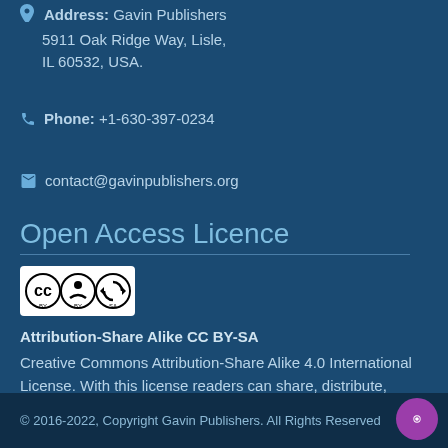Address: Gavin Publishers 5911 Oak Ridge Way, Lisle, IL 60532, USA.
Phone: +1-630-397-0234
contact@gavinpublishers.org
Open Access Licence
[Figure (logo): Creative Commons Attribution-Share Alike (CC BY-SA) badge logo]
Attribution-Share Alike CC BY-SA
Creative Commons Attribution-Share Alike 4.0 International License. With this license readers can share, distribute, download, even commercially, as long as the original source is properly cited.
© 2016-2022, Copyright Gavin Publishers. All Rights Reserved